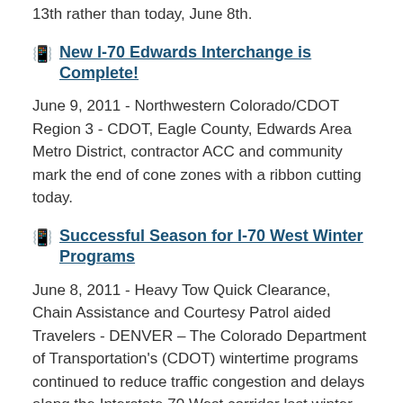13th rather than today, June 8th.
New I-70 Edwards Interchange is Complete!
June 9, 2011 - Northwestern Colorado/CDOT Region 3 - CDOT, Eagle County, Edwards Area Metro District, contractor ACC and community mark the end of cone zones with a ribbon cutting today.
Successful Season for I-70 West Winter Programs
June 8, 2011 - Heavy Tow Quick Clearance, Chain Assistance and Courtesy Patrol aided Travelers - DENVER – The Colorado Department of Transportation's (CDOT) wintertime programs continued to reduce traffic congestion and delays along the Interstate 70 West corridor last winter.